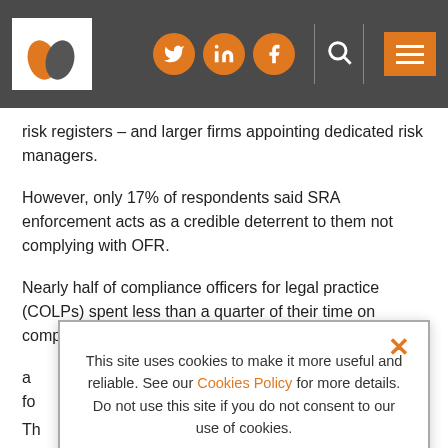Site header with logo, social icons (Twitter, LinkedIn, Facebook), search and menu
risk registers – and larger firms appointing dedicated risk managers.
However, only 17% of respondents said SRA enforcement acts as a credible deterrent to them not complying with OFR.
Nearly half of compliance officers for legal practice (COLPs) spent less than a quarter of their time on compliance duties, a...fo...
Th...an...ad...fe...
Th...th...as...th...
This site uses cookies to make it more useful and reliable. See our Cookies Policy for more details. Do not use this site if you do not consent to our use of cookies. I CONSENT SEE COOKIE POLICY